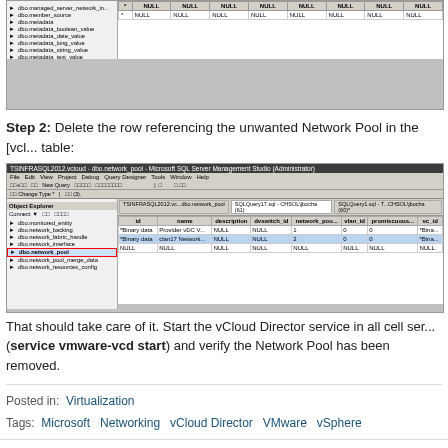[Figure (screenshot): SQL Server Management Studio showing dbo tables list with dbo.network_backing highlighted, and a data grid showing NULL values]
Step 2: Delete the row referencing the unwanted Network Pool in the [vcloud] table:
[Figure (screenshot): TSINFRASQL2012.vcloud - dbo.network_pool - Microsoft SQL Server Management Studio showing dbo.network_pool selected in the object explorer, and a data grid with rows including Binary data, Provider vDC, clan17 Network entries]
That should take care of it. Start the vCloud Director service in all cell servers (service vmware-vcd start) and verify the Network Pool has been removed.
Posted in: Virtualization
Tags: Microsoft, Networking, vCloud Director, VMware, vSphere
RHEL 7, open-vm-tools, and ques